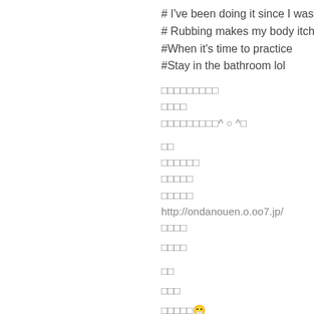# I've been doing it since I was 3
# Rubbing makes my body itchy
#When it's time to practice
#Stay in the bathroom lol
□□□□□□□□□
□□□□
□□□□□□□□□^ ○ ^□
□□
□□□□□□
□□□□□
□□□□□
http://ondanouen.o.oo7.jp/
□□□□
□□□□
□□
□□□
□□□□□😁